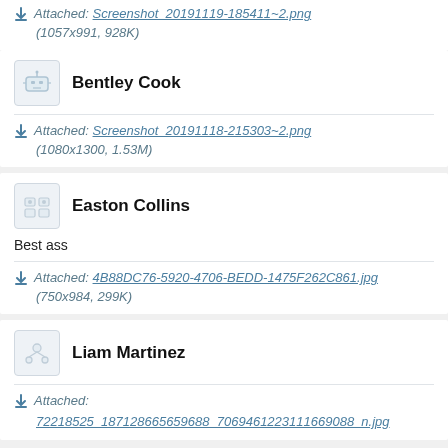Attached: Screenshot_20191119-185411~2.png (1057x991, 928K)
Bentley Cook
Attached: Screenshot_20191118-215303~2.png (1080x1300, 1.53M)
Easton Collins
Best ass
Attached: 4B88DC76-5920-4706-BEDD-1475F262C861.jpg (750x984, 299K)
Liam Martinez
Attached: 72218525_187128665659688_7069461223111669088_n.jpg